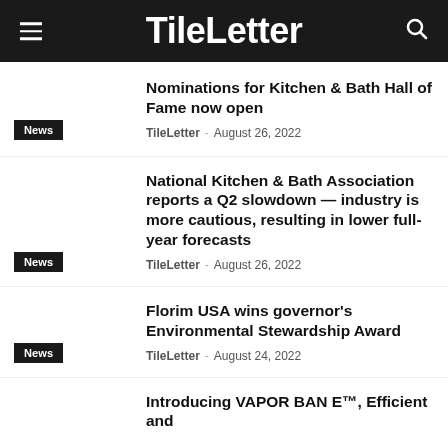TileLetter
Nominations for Kitchen & Bath Hall of Fame now open
TileLetter - August 26, 2022
News
National Kitchen & Bath Association reports a Q2 slowdown — industry is more cautious, resulting in lower full-year forecasts
TileLetter - August 26, 2022
News
Florim USA wins governor's Environmental Stewardship Award
TileLetter - August 24, 2022
News
Introducing VAPOR BAN E™, Efficient and